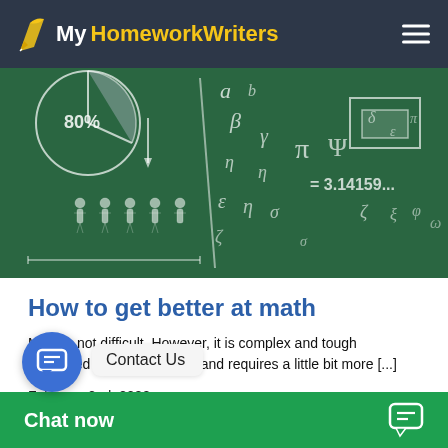MyHomeworkWriters
[Figure (photo): A green chalkboard covered with white chalk drawings of math symbols, Greek letters, percentage pie chart, human figures, pi symbol, and mathematical constants including 3.14159...]
How to get better at math
Math is not difficult. However, it is complex and tough compared to other subjects and requires a little bit more [...]
February 2nd, 2022
Contact Us
Chat now